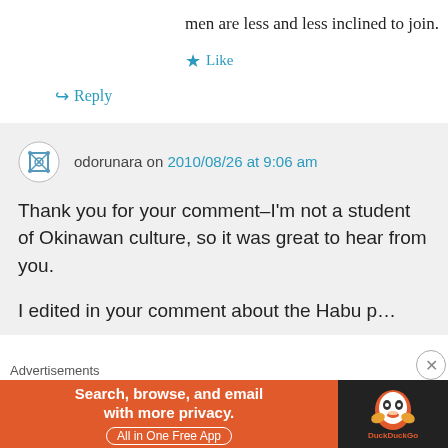men are less and less inclined to join.
★ Like
↪ Reply
odorunara on 2010/08/26 at 9:06 am
Thank you for your comment–I'm not a student of Okinawan culture, so it was great to hear from you.
I edited in your comment about the Habu plane, and I updated a couple other things, too, the info about women in the SDF
Advertisements
[Figure (screenshot): DuckDuckGo advertisement banner: orange background with text 'Search, browse, and email with more privacy. All in One Free App' and DuckDuckGo duck logo on dark background.]